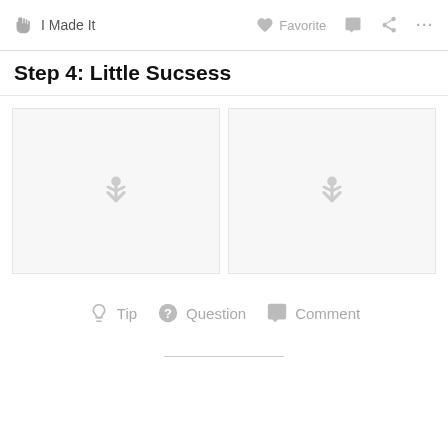I Made It   Favorite   ...
Step 4: Little Sucsess
[Figure (photo): Two placeholder image panels with loading icons]
Tip   Question   Comment